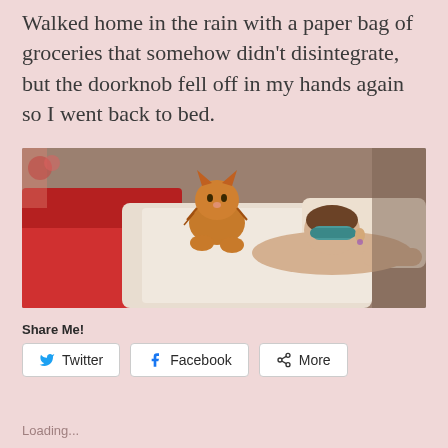Walked home in the rain with a paper bag of groceries that somehow didn't disintegrate, but the doorknob fell off in my hands again so I went back to bed.
[Figure (photo): Scene from Breakfast at Tiffany's: an orange tabby cat sits on a bed next to a woman lying down wearing a blue sleep mask, with red bedding on the left side.]
Share Me!
Twitter  Facebook  More
Loading...